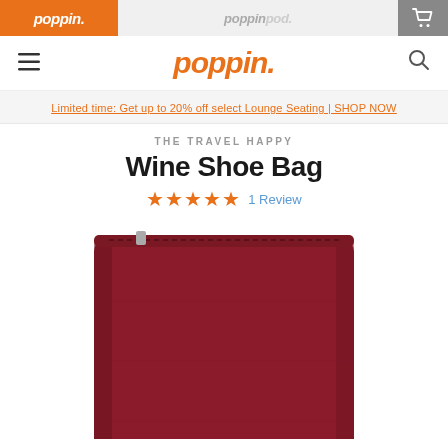poppin. | poppinpod.
poppin. [navigation logo]
Limited time: Get up to 20% off select Lounge Seating | SHOP NOW
THE TRAVEL HAPPY
Wine Shoe Bag
★★★★★ 1 Review
[Figure (photo): Red/wine-colored fabric bag (Wine Shoe Bag) photographed against white background, showing the bag's front face with a zipper at the top.]